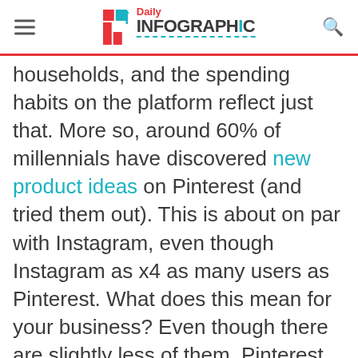Daily Infographic
households, and the spending habits on the platform reflect just that. More so, around 60% of millennials have discovered new product ideas on Pinterest (and tried them out). This is about on par with Instagram, even though Instagram as x4 as many users as Pinterest. What does this mean for your business? Even though there are slightly less of them, Pinterest users are significantly more engaged than those on other social media platforms.